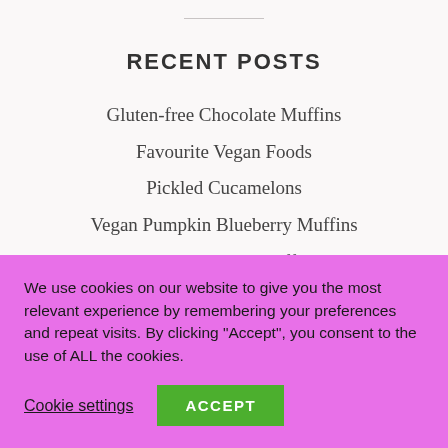RECENT POSTS
Gluten-free Chocolate Muffins
Favourite Vegan Foods
Pickled Cucamelons
Vegan Pumpkin Blueberry Muffins
The Best Crispy Waffles
We use cookies on our website to give you the most relevant experience by remembering your preferences and repeat visits. By clicking “Accept”, you consent to the use of ALL the cookies.
Cookie settings   ACCEPT